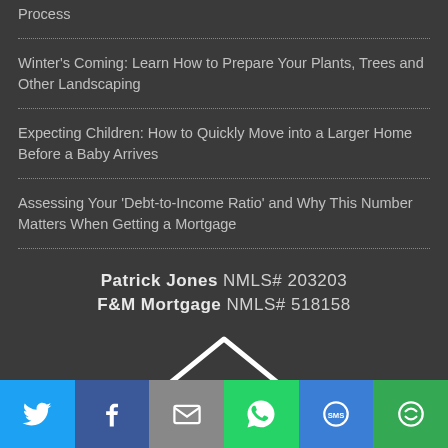Process
Winter's Coming: Learn How to Prepare Your Plants, Trees and Other Landscaping
Expecting Children: How to Quickly Move into a Larger Home Before a Baby Arrives
Assessing Your 'Debt-to-Income Ratio' and Why This Number Matters When Getting a Mortgage
Patrick Jones NMLS# 203203
F&M Mortgage NMLS# 518158
[Figure (logo): Equal Housing Lender logo - white house outline with equal sign]
Twitter | Facebook | Email | WhatsApp | SMS | More